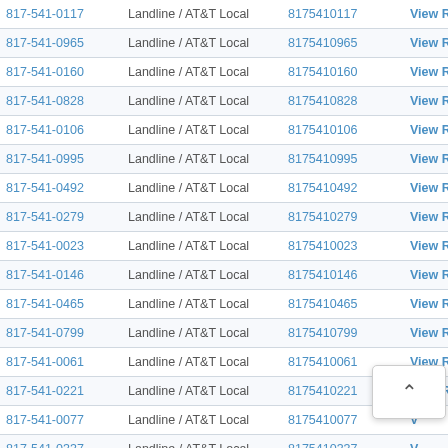| Phone | Type | Number | Action |
| --- | --- | --- | --- |
| 817-541-0117 | Landline / AT&T Local | 8175410117 | View Results |
| 817-541-0965 | Landline / AT&T Local | 8175410965 | View Results |
| 817-541-0160 | Landline / AT&T Local | 8175410160 | View Results |
| 817-541-0828 | Landline / AT&T Local | 8175410828 | View Results |
| 817-541-0106 | Landline / AT&T Local | 8175410106 | View Results |
| 817-541-0995 | Landline / AT&T Local | 8175410995 | View Results |
| 817-541-0492 | Landline / AT&T Local | 8175410492 | View Results |
| 817-541-0279 | Landline / AT&T Local | 8175410279 | View Results |
| 817-541-0023 | Landline / AT&T Local | 8175410023 | View Results |
| 817-541-0146 | Landline / AT&T Local | 8175410146 | View Results |
| 817-541-0465 | Landline / AT&T Local | 8175410465 | View Results |
| 817-541-0799 | Landline / AT&T Local | 8175410799 | View Results |
| 817-541-0061 | Landline / AT&T Local | 8175410061 | View Results |
| 817-541-0221 | Landline / AT&T Local | 8175410221 | View Results |
| 817-541-0077 | Landline / AT&T Local | 8175410077 | View Results (partial) |
| 817-541-0337 | Landline / AT&T Local | 8175410337 | View Results (partial) |
| 817-541-0346 | Landline / AT&T Local | 8175410346 | View Results |
| 817-541-0033 | Landline / AT&T Local | 8175410033 | View Results |